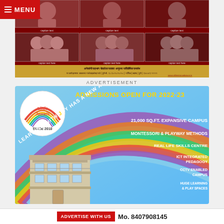[Figure (photo): Top advertisement banner with dark red background showing group photos of women in traditional Indian attire, with gold bottom bar containing Marathi/Hindi text]
ADVERTISEMENT
[Figure (infographic): Little Jewels school admissions advertisement for 2022-23. Features rainbow arc design with text: ADMISSIONS OPEN FOR 2022-23, LEARNING WITH JOY HAS A NEW ADDRESS, 21,000 SQ.FT. EXPANSIVE CAMPUS, MONTESSORI & PLAYWAY METHODS, REAL LIFE SKILLS CENTRE, ICT INTEGRATED PEDAGOGY, CCTV ENABLED CAMPUS, HUGE LEARNING & PLAY SPACES. School building illustration at bottom left. Little Jewels logo with SINCE 2010.]
ADVERTISE WITH US  Mo. 8407908145